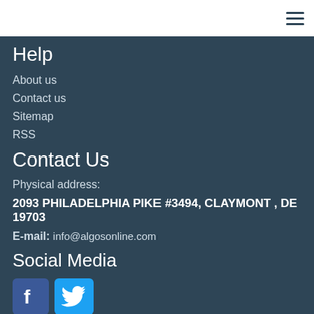Help
About us
Contact us
Sitemap
RSS
Contact Us
Physical address:
2093 PHILADELPHIA PIKE #3494, CLAYMONT , DE 19703
E-mail: info@algosonline.com
Social Media
[Figure (logo): Facebook and Twitter social media icons]